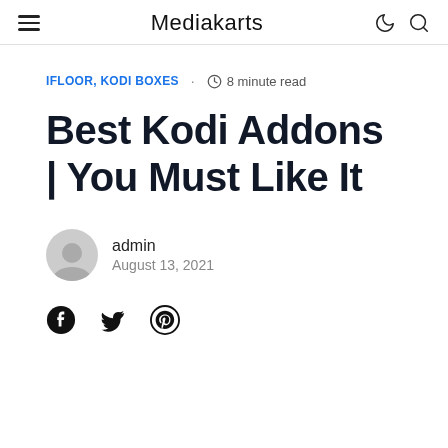Mediakarts
IFLOOR, KODI BOXES · 8 minute read
Best Kodi Addons | You Must Like It
admin
August 13, 2021
[Figure (illustration): Social sharing icons: Facebook, Twitter, Pinterest]